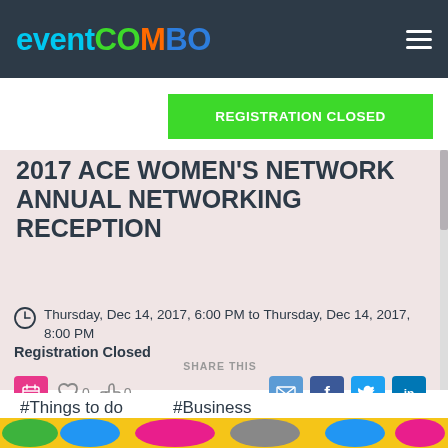eventcombo
[Figure (other): Registration Closed green button]
2017 ACE WOMEN'S NETWORK ANNUAL NETWORKING RECEPTION
Thursday, Dec 14, 2017, 6:00 PM to Thursday, Dec 14, 2017, 8:00 PM
Registration Closed
SHARE THIS
#Things to do   #Business
[Figure (photo): Colorful interlocking hexagonal shapes at the bottom of the page]